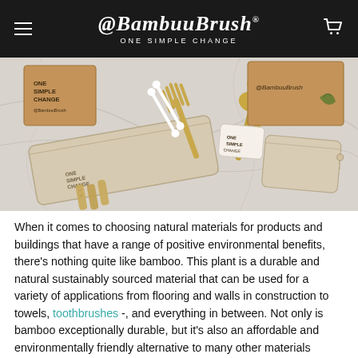@BambuuBrush ONE SIMPLE CHANGE
[Figure (photo): Photo of bamboo utensils, straws, and cotton swabs laid out on a white marble surface with kraft paper packaging boxes labeled 'One Simple Change' and '@BambuuBrush', along with small linen drawstring bags.]
When it comes to choosing natural materials for products and buildings that have a range of positive environmental benefits, there's nothing quite like bamboo. This plant is a durable and natural sustainably sourced material that can be used for a variety of applications from flooring and walls in construction to towels, toothbrushes -, and everything in between. Not only is bamboo exceptionally durable, but it's also an affordable and environmentally friendly alternative to many other materials